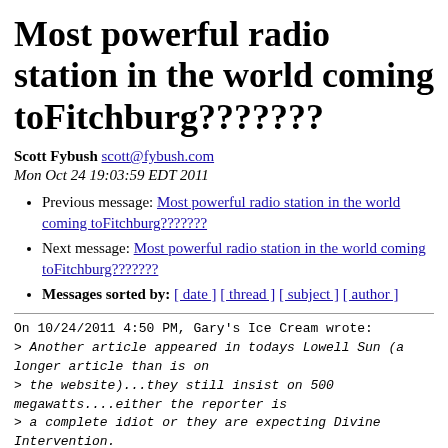Most powerful radio station in the world coming toFitchburg???????
Scott Fybush scott@fybush.com
Mon Oct 24 19:03:59 EDT 2011
Previous message: Most powerful radio station in the world coming toFitchburg???????
Next message: Most powerful radio station in the world coming toFitchburg???????
Messages sorted by: [ date ] [ thread ] [ subject ] [ author ]
On 10/24/2011 4:50 PM, Gary's Ice Cream wrote:
> Another article appeared in todays Lowell Sun (a longer article than is on
> the website)...they still insist on 500 megawatts....either the reporter is
> a complete idiot or they are expecting Divine Intervention.
>